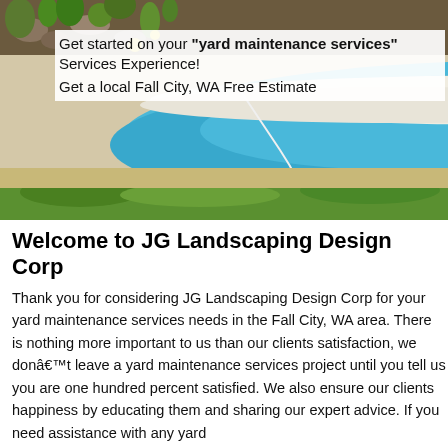[Figure (photo): Two-part landscaping photo: top portion shows garden beds with rocks and plants; bottom portion shows a swimming pool with blue water and green grass lawn around it.]
Get started on your "yard maintenance services" Services Experience!
Get a local Fall City, WA Free Estimate
Welcome to JG Landscaping Design Corp
Thank you for considering JG Landscaping Design Corp for your yard maintenance services needs in the Fall City, WA area. There is nothing more important to us than our clients satisfaction, we donâ€™t leave a yard maintenance services project until you tell us you are one hundred percent satisfied. We also ensure our clients happiness by educating them and sharing our expert advice. If you need assistance with any yard maintenance services project, donâ€™t hesitate to call us.